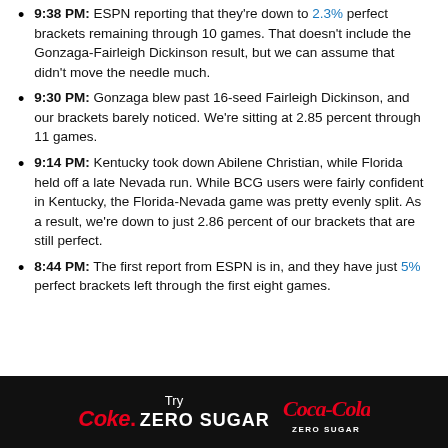9:38 PM: ESPN reporting that they're down to 2.3% perfect brackets remaining through 10 games. That doesn't include the Gonzaga-Fairleigh Dickinson result, but we can assume that didn't move the needle much.
9:30 PM: Gonzaga blew past 16-seed Fairleigh Dickinson, and our brackets barely noticed. We're sitting at 2.85 percent through 11 games.
9:14 PM: Kentucky took down Abilene Christian, while Florida held off a late Nevada run. While BCG users were fairly confident in Kentucky, the Florida-Nevada game was pretty evenly split. As a result, we're down to just 2.86 percent of our brackets that are still perfect.
8:44 PM: The first report from ESPN is in, and they have just 5% perfect brackets left through the first eight games.
[Figure (logo): Coca-Cola Zero Sugar advertisement banner with 'Try Coke Zero Sugar' text and Coca-Cola Zero Sugar logo on black background]